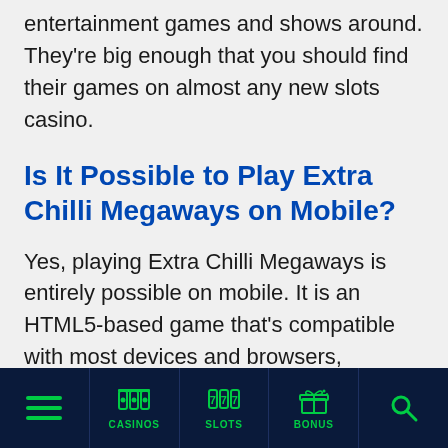entertainment games and shows around. They're big enough that you should find their games on almost any new slots casino.
Is It Possible to Play Extra Chilli Megaways on Mobile?
Yes, playing Extra Chilli Megaways is entirely possible on mobile. It is an HTML5-based game that's compatible with most devices and browsers,
CASINOS | SLOTS | BONUS | (menu) | (search)